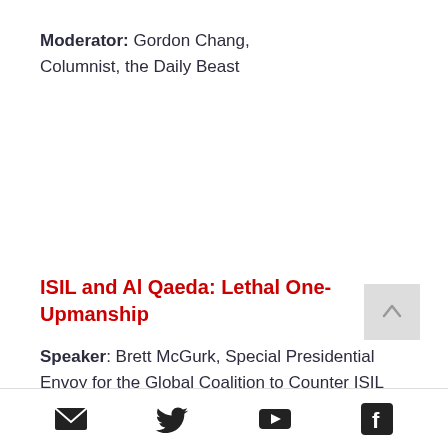Moderator: Gordon Chang, Columnist, the Daily Beast
ISIL and Al Qaeda: Lethal One-Upmanship
Speaker: Brett McGurk, Special Presidential Envoy for the Global Coalition to Counter ISIL
Speaker: Nicholas Rasmussen, Director, National Counterterrorism...
Social media icons: email, twitter, youtube, facebook